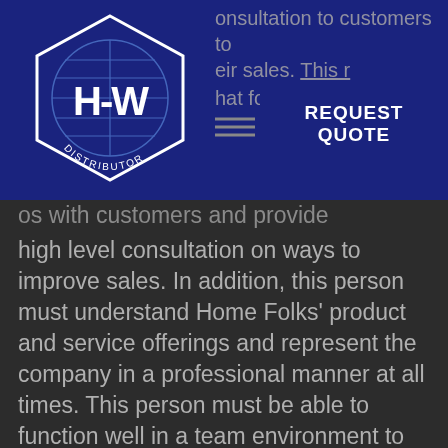[Figure (logo): HFW Distributor logo — hexagonal shape with globe/lines graphic and bold HFW text in white on dark blue background]
REQUEST QUOTE
os with customers and provide high level consultation on ways to improve sales. In addition, this person must understand Home Folks' product and service offerings and represent the company in a professional manner at all times. This person must be able to function well in a team environment to support the sales growth objectives of the company.
• Build strong relationships with key customers
• Implement systems and processes to